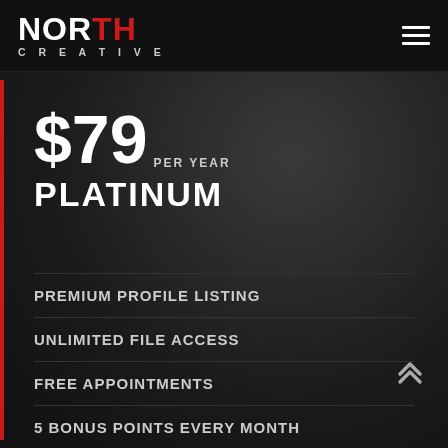[Figure (logo): North Creative logo — NORTH in bold white with TH in red, CREATIVE in small caps below]
$79 PER YEAR
PLATINUM
PREMIUM PROFILE LISTING
UNLIMITED FILE ACCESS
FREE APPOINTMENTS
5 BONUS POINTS EVERY MONTH
2 MONTHS SUPPORT